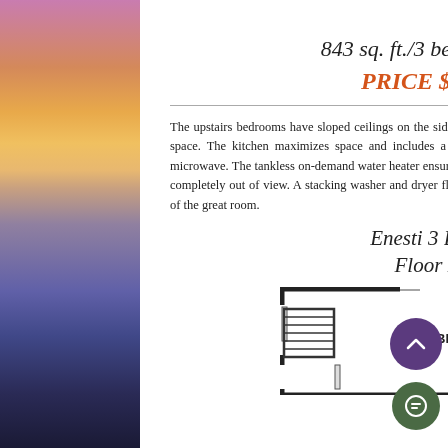843 sq. ft./3 bedroom/2 bath
PRICE $299,000
The upstairs bedrooms have sloped ceilings on the sides, and the closets are positioned in the lower ceiling space. The kitchen maximizes space and includes a dishwasher, full-size range with oven, and built-in microwave. The tankless on-demand water heater ensures that you never run out of hot water and tucks away completely out of view. A stacking washer and dryer flank the kitchen. There is a gas fireplace in the corner of the great room.
Enesti 3 Bedroom Floor Plans
[Figure (engineering-diagram): Floor plan showing a bedroom labeled BEDROOM 7' x 10' with walls, door, and window openings.]